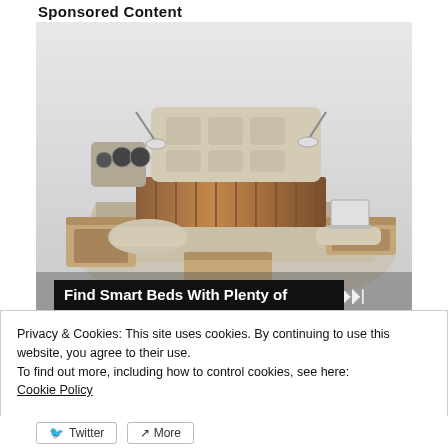Sponsored Content
[Figure (photo): A multifunctional smart bed with built-in speakers, storage drawers, reading lamps, massage chair attachments, laptop stand, and wood-accented platform, shown from an angled top-down perspective on a white background.]
Find Smart Beds With Plenty of
Privacy & Cookies: This site uses cookies. By continuing to use this website, you agree to their use.
To find out more, including how to control cookies, see here:
Cookie Policy
Close and accept
Twitter  More